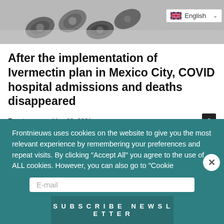[Figure (photo): Grayscale photo of pills/tablets, partially visible at top. A language selector showing UK flag and 'English' text with a dropdown chevron is overlaid in the top-right corner.]
After the implementation of Ivermectin plan in Mexico City, COVID hospital admissions and deaths disappeared
Front news – May 28, 2021
A citywide initiative in Mexico's bustling capital to prescribe Ivermectin to COVID-19 positive patients has led to a reduction in the number of...
Frontnieuws uses cookies on the website to give you the most relevant experience by remembering your preferences and repeat visits. By clicking "Accept All" you agree to the use of ALL cookies. However, you can also go to "Cookie
E-mail
Subscribe Newsletter